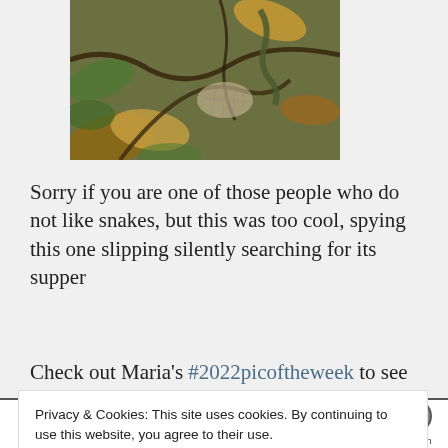[Figure (photo): A photograph of a snake camouflaged among dead leaves, roots, and forest floor debris. The snake is partially visible, blending into the brown and green surroundings.]
Sorry if you are one of those people who do not like snakes, but this was too cool, spying this one slipping silently searching for its supper
Check out Maria's #2022picoftheweek to see how you
Privacy & Cookies: This site uses cookies. By continuing to use this website, you agree to their use.
To find out more, including how to control cookies, see here: Cookie Policy
Close and accept